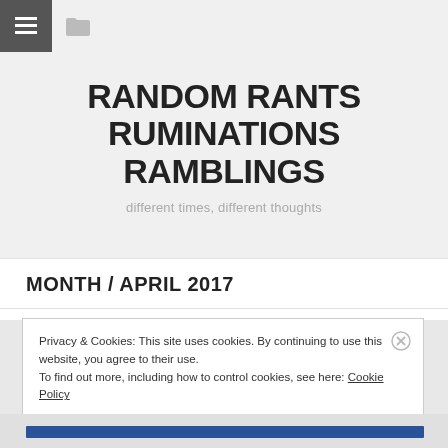☰ 📁
RANDOM RANTS RUMINATIONS RAMBLINGS
different times, different thoughts
MONTH / APRIL 2017
Privacy & Cookies: This site uses cookies. By continuing to use this website, you agree to their use.
To find out more, including how to control cookies, see here: Cookie Policy
Close and accept